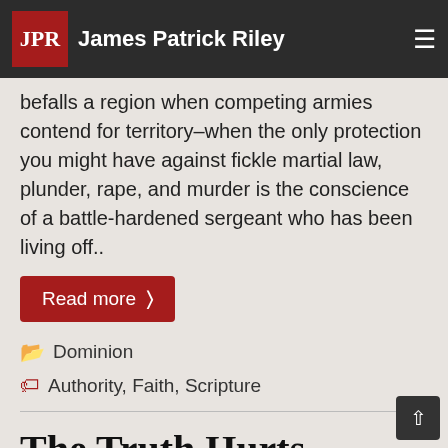James Patrick Riley
o is in charge here, anyway? I've studied history to know there is a kind of terror that befalls a region when competing armies contend for territory–when the only protection you might have against fickle martial law, plunder, rape, and murder is the conscience of a battle-hardened sergeant who has been living off..
Read more >
Dominion
Authority, Faith, Scripture
The Truth Hurts
Posted on December 13, 2019 by James Riley